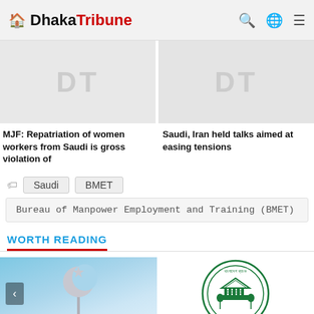Dhaka Tribune
[Figure (photo): Placeholder thumbnail with 'DT' text on grey background for article about MJF women workers]
MJF: Repatriation of women workers from Saudi is gross violation of
[Figure (photo): Placeholder thumbnail with 'DT' text on grey background for article about Saudi Iran talks]
Saudi, Iran held talks aimed at easing tensions
Saudi  BMET
Bureau of Manpower Employment and Training (BMET)
WORTH READING
[Figure (photo): Image of crescent moon and star symbol against a blue sky background with left navigation arrow]
[Figure (logo): Bangladesh Bank circular logo with Bengali text and illustration]